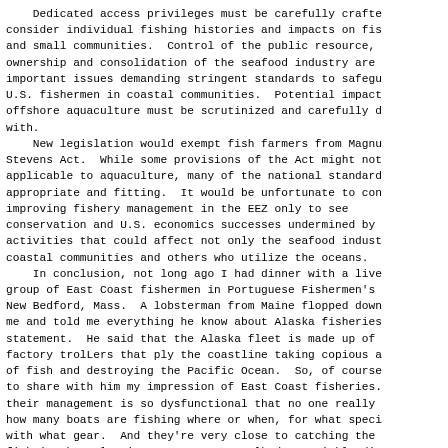Dedicated access privileges must be carefully crafted to consider individual fishing histories and impacts on fish and small communities. Control of the public resource, ownership and consolidation of the seafood industry are important issues demanding stringent standards to safeguard U.S. fishermen in coastal communities. Potential impacts of offshore aquaculture must be scrutinized and carefully dealt with.

    New legislation would exempt fish farmers from Magnuson-Stevens Act. While some provisions of the Act might not be applicable to aquaculture, many of the national standards are appropriate and fitting. It would be unfortunate to continue improving fishery management in the EEZ only to see conservation and U.S. economics successes undermined by new activities that could affect not only the seafood industry, coastal communities and others who utilize the oceans.

    In conclusion, not long ago I had dinner with a lively group of East Coast fishermen in Portuguese Fishermen's Hall in New Bedford, Mass. A lobsterman from Maine flopped down beside me and told me everything he know about Alaska fisheries in one statement. He said that the Alaska fleet is made up of huge factory trolLers that ply the coastline taking copious amounts of fish and destroying the Pacific Ocean. So, of course I had to share with him my impression of East Coast fisheries. That their management is so dysfunctional that no one really knows how many boats are fishing where or when, for what species or with what gear. And they're very close to catching the last fish in the Atlantic Ocean. As we talked we quickly discovered how little we actually knew about each others fisheries and regional concerns. And I certainly felt my horizons expanded.